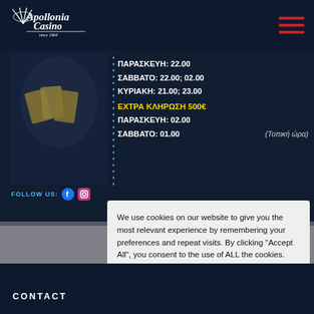[Figure (logo): Apollonia Casino logo — white script text on dark navy background, with a decorative fan/shell graphic on the left]
[Figure (photo): Person holding playing cards or casino cards, dark blurred background]
ΠΑΡΑΣΚΕΥΗ: 22.00
ΣΑΒΒΑΤΟ: 22.00; 02.00
ΚΥΡΙΑΚΗ: 21.00; 23.00
ΕΧΤΡΑ ΚΛΗΡΩΣΗ 500€
ΠΑΡΑΣΚΕΥΗ: 02.00
ΣΑΒΒΑΤΟ: 01.00    (Τοπική ώρα)
FOLLOW US:
full (1
We use cookies on our website to give you the most relevant experience by remembering your preferences and repeat visits. By clicking "Accept All", you consent to the use of ALL the cookies. However, you may visit "Cookie Settings" to provide a controlled consent.
Cookie Settings
Accept All
CONTACT